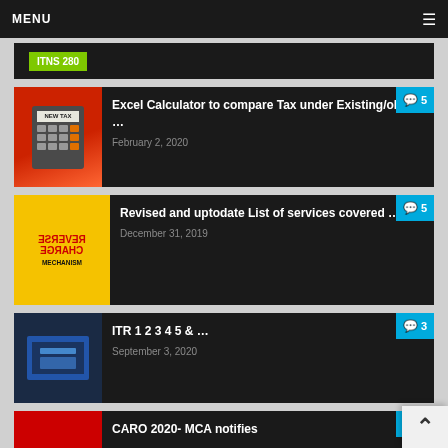MENU
ITNS 280
Excel Calculator to compare Tax under Existing/old …
February 2, 2020
Revised and uptodate List of services covered …
December 31, 2019
ITR 1 2 3 4 5 & …
September 3, 2020
CARO 2020- MCA notifies